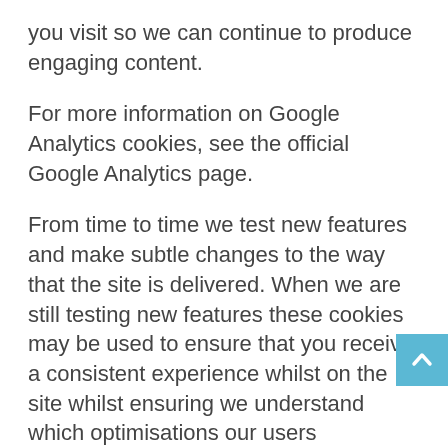you visit so we can continue to produce engaging content.
For more information on Google Analytics cookies, see the official Google Analytics page.
From time to time we test new features and make subtle changes to the way that the site is delivered. When we are still testing new features these cookies may be used to ensure that you receive a consistent experience whilst on the site whilst ensuring we understand which optimisations our users appreciate the most.
As we sell products it’s important for us to understand statistics about how many of the visitors to our site actually make a purchase and as such